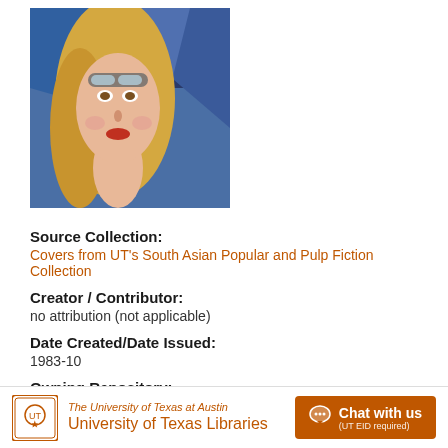[Figure (illustration): Book cover illustration showing a woman with goggles on her head, blonde hair, with a blue abstract/artistic background]
Source Collection:
Covers from UT's South Asian Popular and Pulp Fiction Collection
Creator / Contributor:
no attribution (not applicable)
Date Created/Date Issued:
1983-10
Owning Repository:
University of Texas Libraries, The University of Texas at
The University of Texas at Austin University of Texas Libraries | Chat with us (UT EID required)